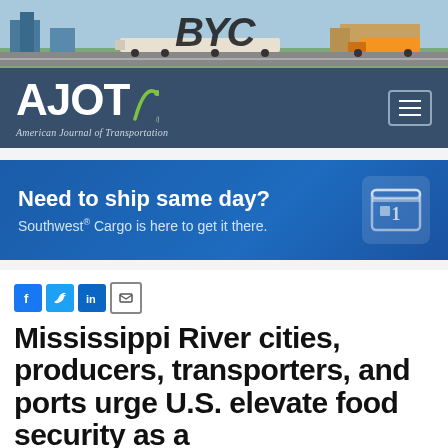[Figure (illustration): Transportation banner illustration showing trucks, trains, and logistics infrastructure in a cartoon style. Large italic 'BYC' text overlay.]
[Figure (logo): AJOT - American Journal of Transportation logo in white on dark navy background, with navigation hamburger menu icon on the right.]
[Figure (infographic): Southwest Cargo advertisement banner. Blue background. Headline: 'Need to ship same day?' Subtext: 'Southwest® Cargo is here to get it there.' Calendar icon on right.]
[Figure (other): Social media sharing icons: Facebook (blue f), Twitter (blue bird), LinkedIn (in), Email (envelope)]
Mississippi River cities, producers, transporters, and ports urge U.S. elevate food security as a